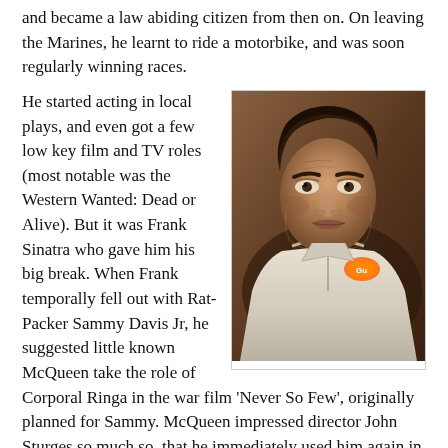and became a law abiding citizen from then on. On leaving the Marines, he learnt to ride a motorbike, and was soon regularly winning races.
[Figure (photo): Black and white or sepia-toned portrait photograph of Steve McQueen wearing a racing suit with Gulf logo patch, looking directly at the camera with an intense expression.]
He started acting in local plays, and even got a few low key film and TV roles (most notable was the Western Wanted: Dead or Alive). But it was Frank Sinatra who gave him his big break. When Frank temporally fell out with Rat-Packer Sammy Davis Jr, he suggested little known McQueen take the role of Corporal Ringa in the war film 'Never So Few', originally planned for Sammy. McQueen impressed director John Sturges so much so, that he immediately used him again in his next film The Magnificent Seven....
Classic films came thick and fast; Hell is For Heroes, The Great Escape (also for John Sturges), The Sand Pebbles (for which he was nominated for an Oscar), The Thomas Crown Affair, Bullitt, Le Mans, and Papillon, to name a few.